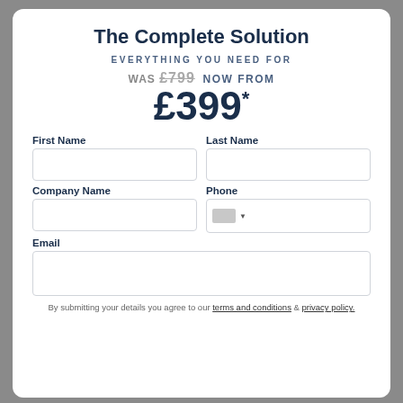The Complete Solution
EVERYTHING YOU NEED FOR
WAS £799 NOW FROM £399*
First Name
Last Name
Company Name
Phone
Email
By submitting your details you agree to our terms and conditions & privacy policy.